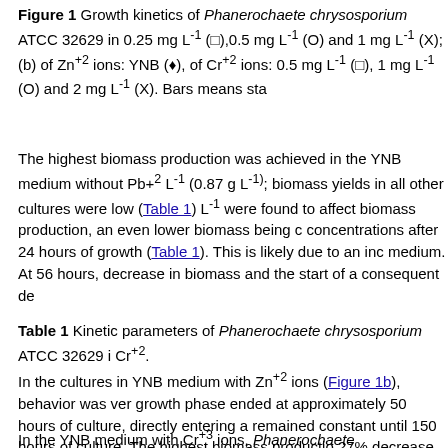Figure 1 Growth kinetics of Phanerochaete chrysosporium ATCC 32629 in 0.25 mg L-1 (□),0.5 mg L-1 (O) and 1 mg L-1 (X); (b) of Zn+2 ions: YNB (♦), of Cr+2 ions: 0.5 mg L-1 (□), 1 mg L-1 (O) and 2 mg L-1 (X). Bars means sta
The highest biomass production was achieved in the YNB medium without Pb+2 L-1 (0.87 g L-1); biomass yields in all other cultures were low (Table 1) L-1 were found to affect biomass production, an even lower biomass being c concentrations after 24 hours of growth (Table 1). This is likely due to an inc medium. At 56 hours, decrease in biomass and the start of a consequent de
Table 1 Kinetic parameters of Phanerochaete chrysosporium ATCC 32629 i Cr+2.
In the cultures in YNB medium with Zn+2 ions (Figure 1b), behavior was ver growth phase ended at approximately 50 hours of culture, directly entering a remained constant until 150 hours of culture. The highest biomass productio 27% decrease in biomass occurring in media containing 10 and 20 mg Zn2+
In the YNB medium with Cr+3 ions, Phanerochaete chrysosporium ATCC 32